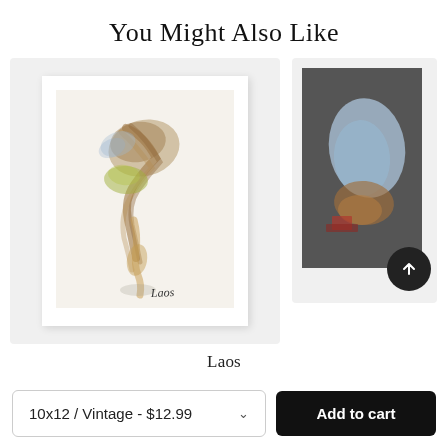You Might Also Like
[Figure (illustration): Framed watercolor artwork of the map of Laos with handwritten 'Laos' label at bottom, displayed in a white frame on light grey background]
[Figure (illustration): Partially visible framed artwork on dark grey background, showing a map-like watercolor with blue and earth tones, with a circular dark scroll-up button]
Laos
10x12 / Vintage - $12.99
Add to cart